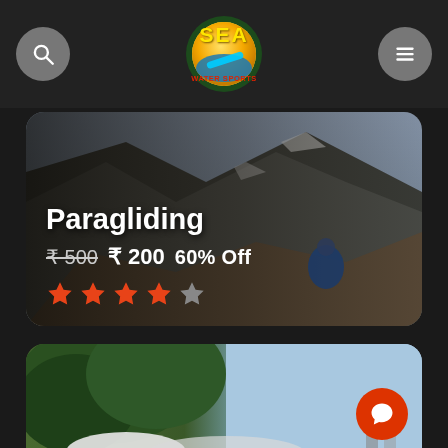SEA WATER SPORTS
Paragliding
₹ 500  ₹ 200    60% Off
[Figure (photo): Paragliding activity card with mountain background showing hikers on rocky terrain. 4 out of 5 star rating shown in orange stars.]
[Figure (photo): Second activity card partially visible showing trees and sky background.]